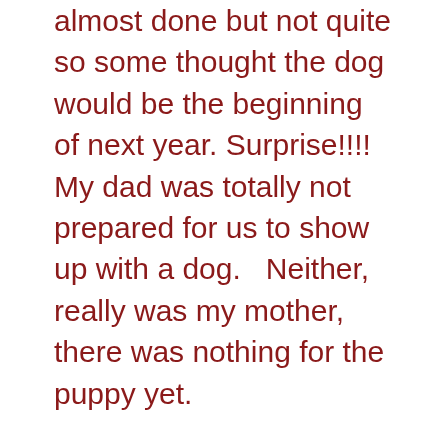almost done but not quite so some thought the dog would be the beginning of next year.  Surprise!!!!   My dad was totally not prepared for us to show up with a dog.   Neither, really was my mother, there was nothing for the puppy yet.
So the afternoon was spent taking care of this adorable fur ball (so hard I know 🙂 ) and running around getting stuff for her.  She now has a collar and a leash, a bed and some toys, a squeaker frog!  What she does not have is a name.  The whole family is in on it now, but no one agrees.